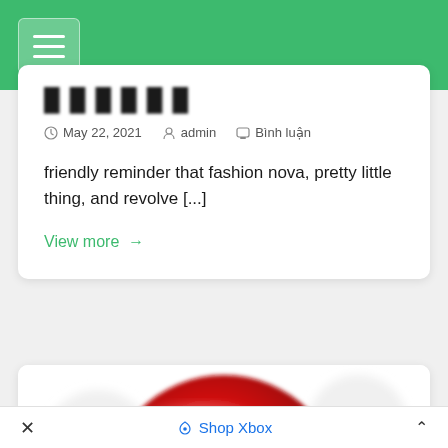Navigation menu header with hamburger button
█ █ █ █ █ █ █ █
May 22, 2021   admin   Bình luận
friendly reminder that fashion nova, pretty little thing, and revolve [...]
View more →
[Figure (photo): Blurred red circular logo with colorful star/diamond shape in the center, resembling an Xbox or gaming-related icon]
✕   ◇ Shop Xbox   ∧